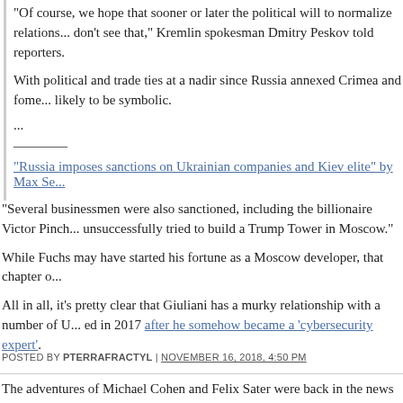“Of course, we hope that sooner or later the political will to normalize relations... don’t see that,” Kremlin spokesman Dmitry Peskov told reporters.
With political and trade ties at a nadir since Russia annexed Crimea and fome... likely to be symbolic.
...
————
“Russia imposes sanctions on Ukrainian companies and Kiev elite” by Max Se...
“Several businessmen were also sanctioned, including the billionaire Victor Pinch... unsuccessfully tried to build a Trump Tower in Moscow.”
While Fuchs may have started his fortune as a Moscow developer, that chapter o...
All in all, it’s pretty clear that Giuliani has a murky relationship with a number of U... ed in 2017 after he somehow became a ‘cybersecurity expert’.
POSTED BY PTERRAFRACTYL | NOVEMBER 16, 2018, 4:50 PM
The adventures of Michael Cohen and Felix Sater were back in the news this we... Specifically, lying about the extent of his efforts to get Trump Tower Moscow built... these negotiations. Cohen now admits that Trump himself was aware of these ef... trip to Moscow in 2016 following the Republican convention. Cohen also now ad...